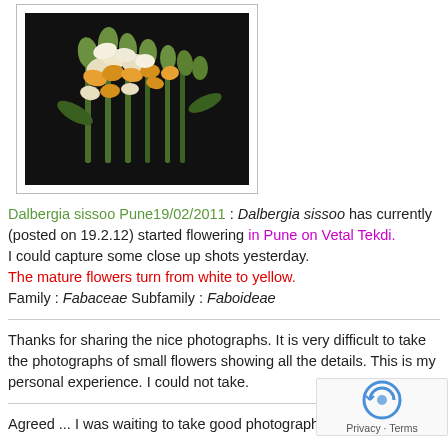[Figure (photo): Close-up photograph of Dalbergia sissoo flowers showing white and yellow small flowers on green stems against a dark background]
Dalbergia sissoo Pune19/02/2011 : Dalbergia sissoo has currently (posted on 19.2.12) started flowering in Pune on Vetal Tekdi.
I could capture some close up shots yesterday.
The mature flowers turn from white to yellow.
Family : Fabaceae Subfamily : Faboideae
Thanks for sharing the nice photographs. It is very difficult to take the photographs of small flowers showing all the details. This is my personal experience. I could not take.
Agreed ... I was waiting to take good photographs of